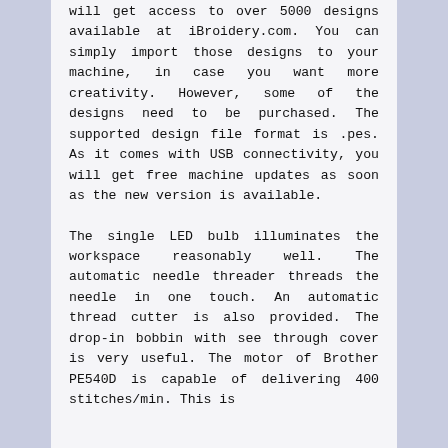will get access to over 5000 designs available at iBroidery.com. You can simply import those designs to your machine, in case you want more creativity. However, some of the designs need to be purchased. The supported design file format is .pes. As it comes with USB connectivity, you will get free machine updates as soon as the new version is available.
The single LED bulb illuminates the workspace reasonably well. The automatic needle threader threads the needle in one touch. An automatic thread cutter is also provided. The drop-in bobbin with see through cover is very useful. The motor of Brother PE540D is capable of delivering 400 stitches/min. This is